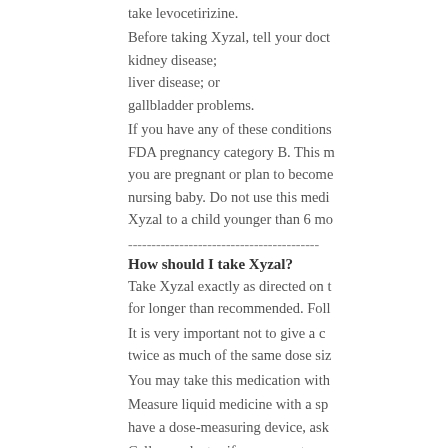take levocetirizine.
Before taking Xyzal, tell your doct
kidney disease;
liver disease; or
gallbladder problems.
If you have any of these conditions
FDA pregnancy category B. This m you are pregnant or plan to become nursing baby. Do not use this medi Xyzal to a child younger than 6 mo
----------------------------------------
How should I take Xyzal?
Take Xyzal exactly as directed on t for longer than recommended. Foll
It is very important not to give a c twice as much of the same dose siz
You may take this medication with
Measure liquid medicine with a sp have a dose-measuring device, ask
Call your doctor if your symptoms
room temperature away from moist